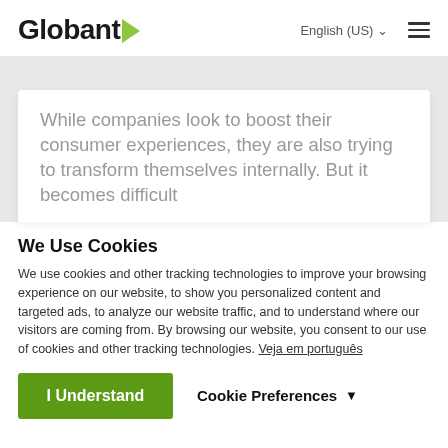Globant | English (US)
While companies look to boost their consumer experiences, they are also trying to transform themselves internally. But it becomes difficult
We Use Cookies
We use cookies and other tracking technologies to improve your browsing experience on our website, to show you personalized content and targeted ads, to analyze our website traffic, and to understand where our visitors are coming from. By browsing our website, you consent to our use of cookies and other tracking technologies. Veja em português
I Understand | Cookie Preferences